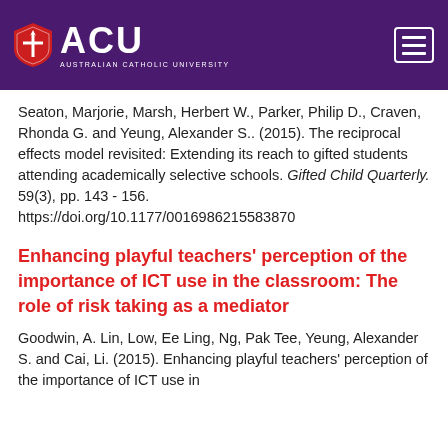ACU - Australian Catholic University
Seaton, Marjorie, Marsh, Herbert W., Parker, Philip D., Craven, Rhonda G. and Yeung, Alexander S.. (2015). The reciprocal effects model revisited: Extending its reach to gifted students attending academically selective schools. Gifted Child Quarterly. 59(3), pp. 143 - 156. https://doi.org/10.1177/0016986215583870
Enhancing playful teachers' perception of the importance of ICT use in the classroom: The role of risk taking as a mediator
Goodwin, A. Lin, Low, Ee Ling, Ng, Pak Tee, Yeung, Alexander S. and Cai, Li. (2015). Enhancing playful teachers' perception of the importance of ICT use in